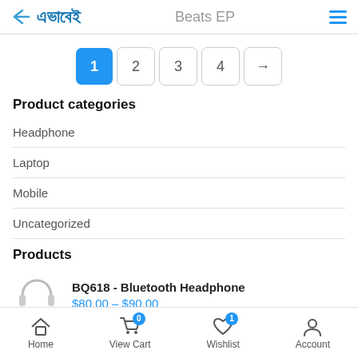এভাবেই — Beats EP
1 2 3 4 →
Product categories
Headphone
Laptop
Mobile
Uncategorized
Products
BQ618 - Bluetooth Headphone
$80.00 – $90.00
Home  View Cart 0  Wishlist 1  Account